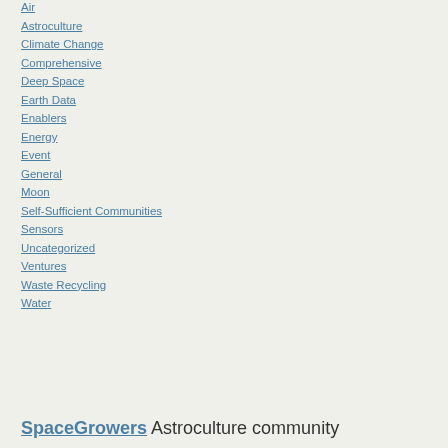Air
Astroculture
Climate Change
Comprehensive
Deep Space
Earth Data
Enablers
Energy
Event
General
Moon
Self-Sufficient Communities
Sensors
Uncategorized
Ventures
Waste Recycling
Water
SpaceGrowers Astroculture community